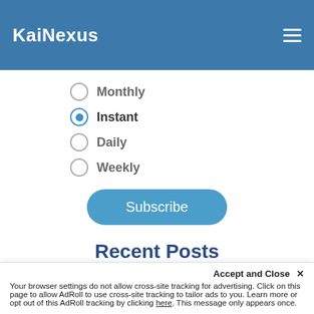KaiNexus
Monthly
Instant (selected)
Daily
Weekly
Subscribe
Recent Posts
The 4 Most Important
Accept and Close ✕
Your browser settings do not allow cross-site tracking for advertising. Click on this page to allow AdRoll to use cross-site tracking to tailor ads to you. Learn more or opt out of this AdRoll tracking by clicking here. This message only appears once.